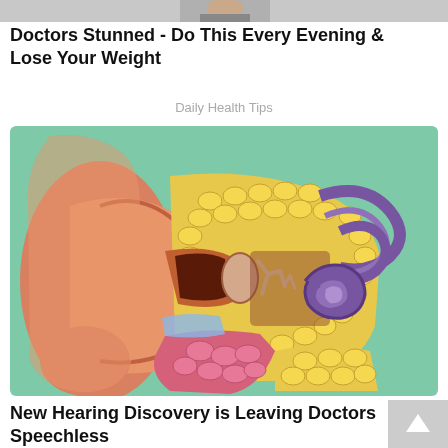[Figure (photo): Partial top strip of an image showing a person, cropped at the very top of the page]
Doctors Stunned - Do This Every Evening & Lose Your Weight
Daily Health Tips
[Figure (illustration): Cross-section medical illustration of the human ear anatomy, showing the outer ear, ear canal, middle ear structures (ossicles), inner ear (cochlea and semicircular canals), on a green background]
New Hearing Discovery is Leaving Doctors Speechless